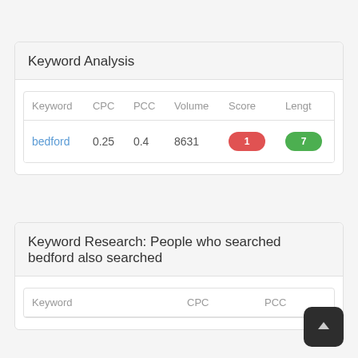Keyword Analysis
| Keyword | CPC | PCC | Volume | Score | Length |
| --- | --- | --- | --- | --- | --- |
| bedford | 0.25 | 0.4 | 8631 | 1 | 7 |
Keyword Research: People who searched bedford also searched
| Keyword | CPC | PCC |
| --- | --- | --- |